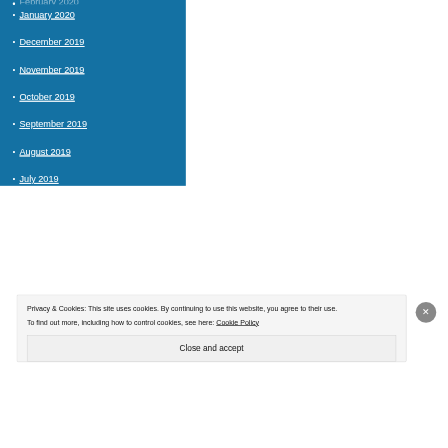February 2020
January 2020
December 2019
November 2019
October 2019
September 2019
August 2019
July 2019
June 2019
March 2019
February 2019
January 2019
Privacy & Cookies: This site uses cookies. By continuing to use this website, you agree to their use.
To find out more, including how to control cookies, see here: Cookie Policy
Close and accept